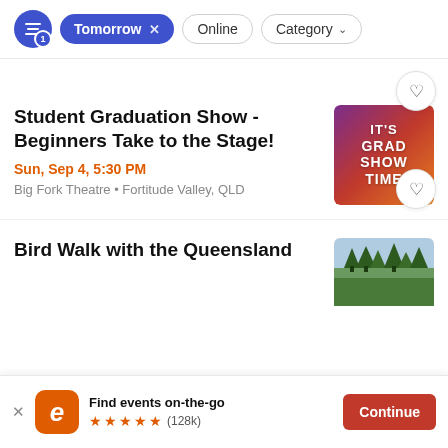[Figure (screenshot): Filter bar with active 'Tomorrow' filter pill, 'Online' and 'Category' outline pills, and a filter icon button with badge '1']
Student Graduation Show - Beginners Take to the Stage!
Sun, Sep 4, 5:30 PM
Big Fork Theatre • Fortitude Valley, QLD
[Figure (illustration): Purple and orange gradient image with bold white text reading IT'S GRAD SHOW TIME]
Bird Walk with the Queensland
[Figure (photo): Partial photo showing trees against sky for Bird Walk event]
Find events on-the-go ★★★★★ (128k)
Continue